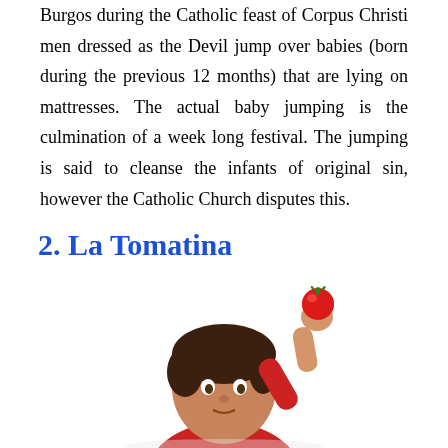Burgos during the Catholic feast of Corpus Christi men dressed as the Devil jump over babies (born during the previous 12 months) that are lying on mattresses. The actual baby jumping is the culmination of a week long festival. The jumping is said to cleanse the infants of original sin, however the Catholic Church disputes this.
2. La Tomatina
[Figure (photo): A boy in a red shirt holding up a red tomato in his raised hand, photographed against a white background.]